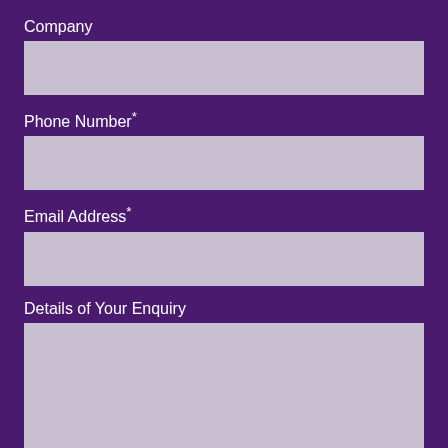Company
Phone Number*
Email Address*
Details of Your Enquiry